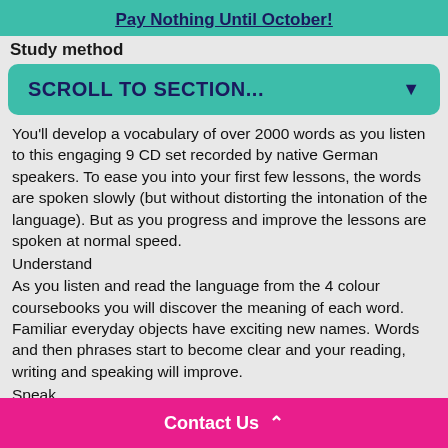Pay Nothing Until October!
Study method
SCROLL TO SECTION...
You'll develop a vocabulary of over 2000 words as you listen to this engaging 9 CD set recorded by native German speakers. To ease you into your first few lessons, the words are spoken slowly (but without distorting the intonation of the language). But as you progress and improve the lessons are spoken at normal speed.
Understand
As you listen and read the language from the 4 colour coursebooks you will discover the meaning of each word. Familiar everyday objects have exciting new names. Words and then phrases start to become clear and your reading, writing and speaking will improve.
Speak
Start speaking from the very first lesson. Many people find speaking a new language to be the hardest part and that's why you'll be speaking from the very first lesson. Ri... ...ted with
Contact Us